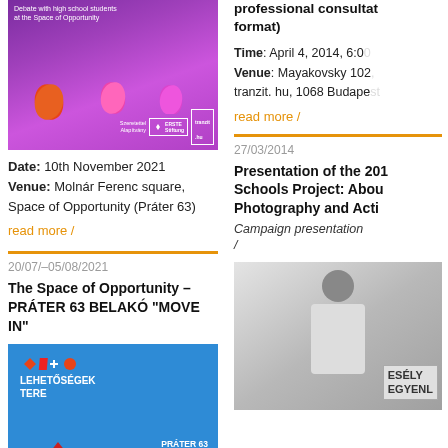[Figure (photo): Purple/violet background with orange and pink tulip logos, sponsor logos at bottom (Szereterete, ERSTE Stiftung), text overlay: Debate with high school students at the Space of Opportunity]
Date: 10th November 2021
Venue: Molnár Ferenc square, Space of Opportunity (Práter 63)
read more /
20/07/–05/08/2021
The Space of Opportunity – PRÁTER 63 BELAKÓ "MOVE IN"
[Figure (photo): Blue background event poster: Lehetőségek Tere with geometric icons, Práter 63 Belakó 07.20-08.05 text, red triangle shape at bottom]
professional consultation format)
Time: April 4, 2014, 6:00
Venue: Mayakovsky 102, tranzit.hu, 1068 Budapest
read more /
27/03/2014
Presentation of the 2014 Schools Project: About Photography and Acti
Campaign presentation /
[Figure (photo): Black and white photo of a woman holding signs with text ESÉLY and EGYENL]